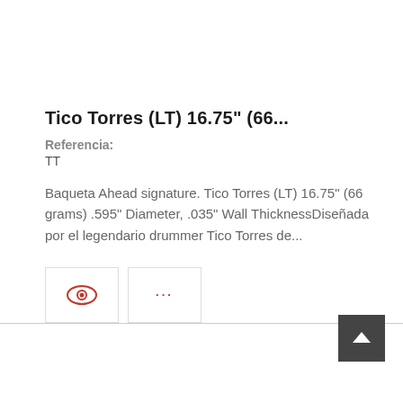Tico Torres (LT) 16.75" (66...
Referencia:
TT
Baqueta Ahead signature. Tico Torres (LT) 16.75" (66 grams) .595" Diameter, .035" Wall ThicknessDiseñada por el legendario drummer Tico Torres de...
[Figure (other): Two buttons: an eye icon button and a three-dot menu button, both with red icons in bordered square boxes]